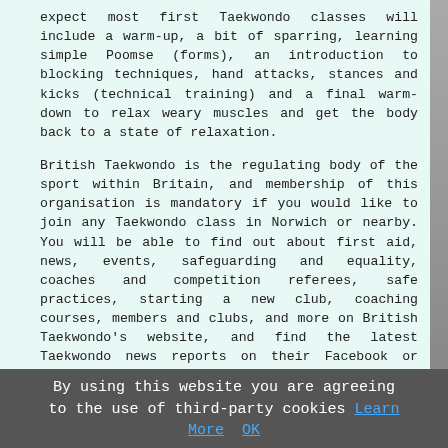expect most first Taekwondo classes will include a warm-up, a bit of sparring, learning simple Poomse (forms), an introduction to blocking techniques, hand attacks, stances and kicks (technical training) and a final warm-down to relax weary muscles and get the body back to a state of relaxation.
British Taekwondo is the regulating body of the sport within Britain, and membership of this organisation is mandatory if you would like to join any Taekwondo class in Norwich or nearby. You will be able to find out about first aid, news, events, safeguarding and equality, coaches and competition referees, safe practices, starting a new club, coaching courses, members and clubs, and more on British Taekwondo's website, and find the latest Taekwondo news reports on their Facebook or Twitter page.
[Figure (other): Cyan rounded button with bold red text reading: ENQUIRE ABOUT CLASSES >>]
The Taekwondo Kicks
By using this website you are agreeing to the use of third-party cookies Learn More OK